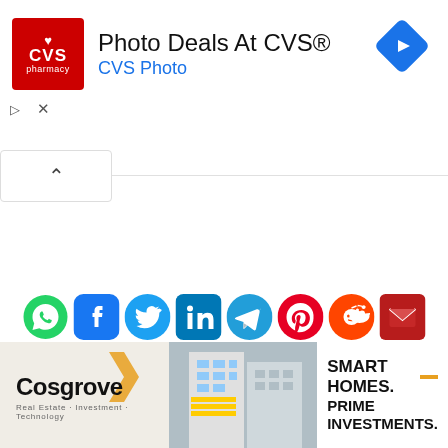[Figure (screenshot): CVS Pharmacy advertisement banner with red CVS logo, headline 'Photo Deals At CVS®', subtitle 'CVS Photo', and a blue diamond navigation icon on the right. Below it a play triangle and X close button. A chevron-up button appears below the banner.]
[Figure (infographic): Row of social media sharing icons: WhatsApp (green), Facebook (dark blue), Twitter (light blue), LinkedIn (blue), Telegram (blue), Pinterest (red), Reddit (orange-red), Email/envelope (dark red).]
[Figure (screenshot): Cosgrove Real Estate advertisement. Left side shows 'Cosgrove' logo with arrow icon and tagline 'Real Estate · Investment · Technology'. Center shows a photo of a multi-storey building. Right side shows white background with bold text 'SMART HOMES. PRIME INVESTMENTS.' and an orange dash accent.]